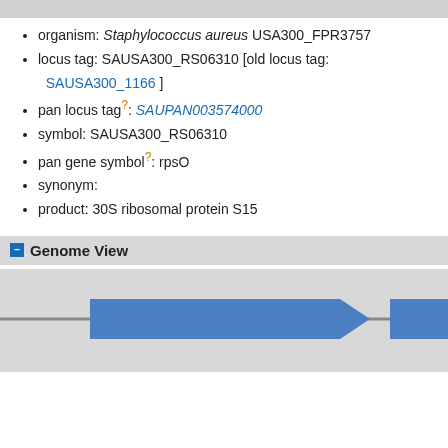organism: Staphylococcus aureus USA300_FPR3757
locus tag: SAUSA300_RS06310 [old locus tag: SAUSA300_1166 ]
pan locus tag?: SAUPAN003574000
symbol: SAUSA300_RS06310
pan gene symbol?: rpsO
synonym:
product: 30S ribosomal protein S15
Genome View
[Figure (schematic): Genome view schematic showing a horizontal chromosome line with two blue rightward-pointing arrow shapes (genes) on it.]